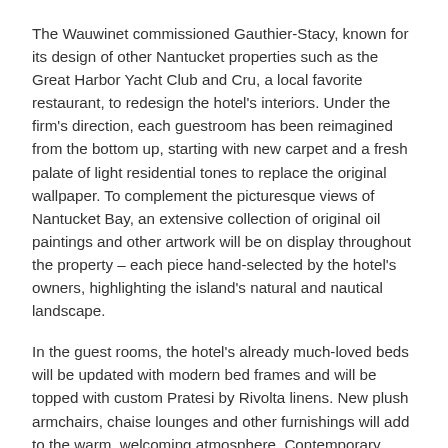The Wauwinet commissioned Gauthier-Stacy, known for its design of other Nantucket properties such as the Great Harbor Yacht Club and Cru, a local favorite restaurant, to redesign the hotel's interiors. Under the firm's direction, each guestroom has been reimagined from the bottom up, starting with new carpet and a fresh palate of light residential tones to replace the original wallpaper. To complement the picturesque views of Nantucket Bay, an extensive collection of original oil paintings and other artwork will be on display throughout the property – each piece hand-selected by the hotel's owners, highlighting the island's natural and nautical landscape.
In the guest rooms, the hotel's already much-loved beds will be updated with modern bed frames and will be topped with custom Pratesi by Rivolta linens. New plush armchairs, chaise lounges and other furnishings will add to the warm, welcoming atmosphere. Contemporary updating continues with completely gutted bathrooms now featuring marble floor tiles laid in a herringbone pattern and glass-enclosed walk-in showers. Waterworks fixtures have been installed throughout.